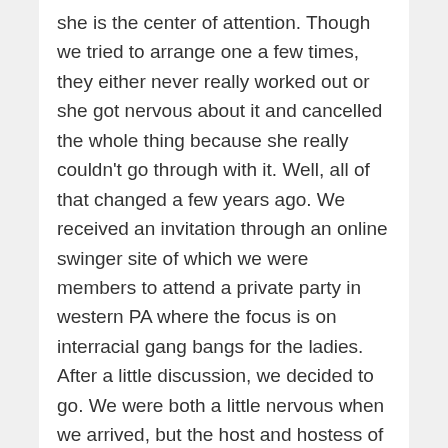she is the center of attention. Though we tried to arrange one a few times, they either never really worked out or she got nervous about it and cancelled the whole thing because she really couldn't go through with it. Well, all of that changed a few years ago. We received an invitation through an online swinger site of which we were members to attend a private party in western PA where the focus is on interracial gang bangs for the ladies. After a little discussion, we decided to go. We were both a little nervous when we arrived, but the host and hostess of the party were very friendly and did their best to put us at ease. The party was in a large hotel suite with three rooms that included two queen size beds and one king size, two sofas and a large hot